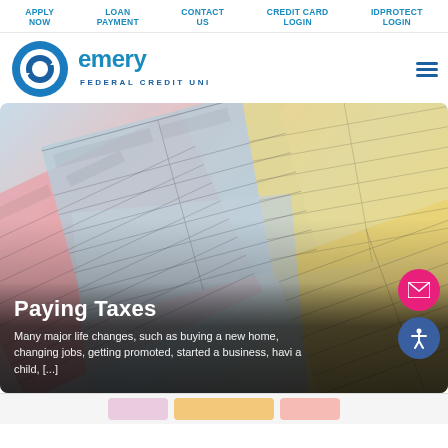APPLY NOW | LOAN PAYMENT | CONTACT US | CREDIT CARD LOGIN | IDPROTECT LOGIN
[Figure (logo): Emery Federal Credit Union logo — circular blue globe/arrow icon with 'emery' in large teal text and 'FEDERAL CREDIT UNION' beneath]
[Figure (photo): Hero banner image showing colorful overlapping tax forms (pink, blue, yellow backgrounds) with text overlay 'Paying Taxes' and description text]
Paying Taxes
Many major life changes, such as buying a new home, changing jobs, getting promoted, started a business, havi a child, [...]